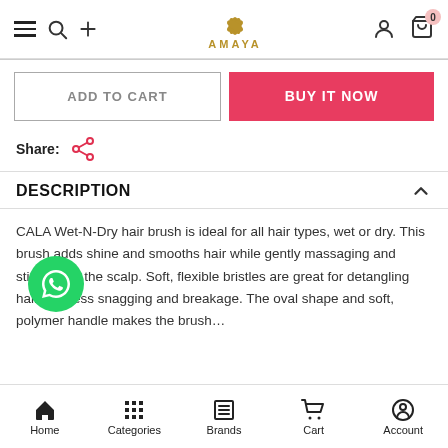AMAYA — navigation bar with hamburger, search, plus, logo, user, cart (0)
ADD TO CART | BUY IT NOW
Share:
DESCRIPTION
CALA Wet-N-Dry hair brush is ideal for all hair types, wet or dry. This brush adds shine and smooths hair while gently massaging and stimulating the scalp. Soft, flexible bristles are great for detangling hair with less snagging and breakage. The oval shape and soft, polymer handle makes the brush...
Home | Categories | Brands | Cart | Account